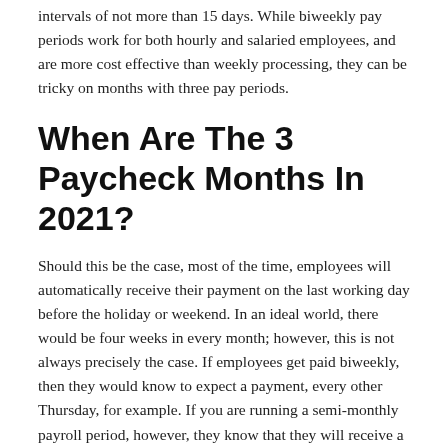intervals of not more than 15 days. While biweekly pay periods work for both hourly and salaried employees, and are more cost effective than weekly processing, they can be tricky on months with three pay periods.
When Are The 3 Paycheck Months In 2021?
Should this be the case, most of the time, employees will automatically receive their payment on the last working day before the holiday or weekend. In an ideal world, there would be four weeks in every month; however, this is not always precisely the case. If employees get paid biweekly, then they would know to expect a payment, every other Thursday, for example. If you are running a semi-monthly payroll period, however, they know that they will receive a payment on the 7th and the 21st of the month.
When you get paid biweekly, this means you'll receive 26 paycheck per year. Biweekly pay periods occur once every two weeks, which means some months will have three pay periods.
Today, it is more common to have them all integrated together